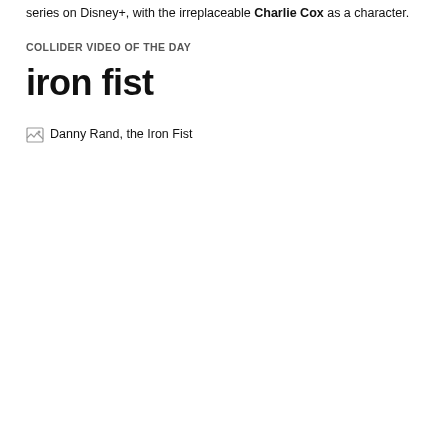series on Disney+, with the irreplaceable Charlie Cox as a character.
COLLIDER VIDEO OF THE DAY
iron fist
[Figure (photo): Broken image placeholder labeled 'Danny Rand, the Iron Fist' — image failed to load, showing broken image icon and alt text.]
Raised among martial arts masters in the mythical city of K’un-Lun, orphaned billionaire Danny Rand endured rigorous training…